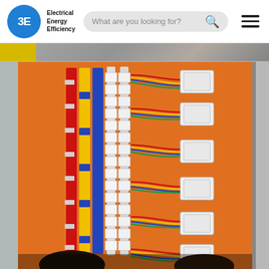[Figure (screenshot): Website header/navigation bar showing the '3E Electrical Energy Efficiency' logo (blue circle with '3E'), a search bar reading 'What are you looking for?', and a hamburger menu icon]
[Figure (photo): Partial strip of a banner image showing yellow and grey/textured sections at the top of the page content area]
[Figure (photo): Photograph of an open electrical distribution panel/switchboard with an orange backplane, showing rows of red, yellow, and blue busbars/conductors with white terminal blocks and multiple circuit breakers connected with multicolored wiring. Two people's heads are visible at the bottom of the image.]